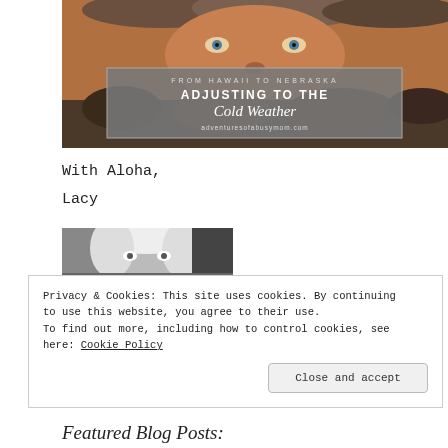[Figure (photo): A person wearing a fur-trimmed winter coat hood, close-up face shot. Overlaid with a gray banner reading FROM HAWAII TO NEBRASKA / ADJUSTING TO THE / Cold Weather / adventuresofabusymom.com]
With Aloha,
Lacy
[Figure (photo): Black and white photo of a blonde woman looking at camera]
Privacy & Cookies: This site uses cookies. By continuing to use this website, you agree to their use.
To find out more, including how to control cookies, see here: Cookie Policy
Close and accept
Featured Blog Posts: